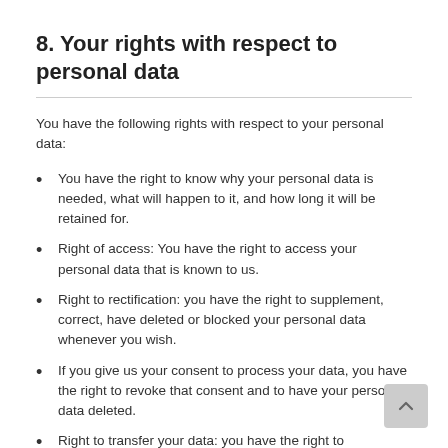8. Your rights with respect to personal data
You have the following rights with respect to your personal data:
You have the right to know why your personal data is needed, what will happen to it, and how long it will be retained for.
Right of access: You have the right to access your personal data that is known to us.
Right to rectification: you have the right to supplement, correct, have deleted or blocked your personal data whenever you wish.
If you give us your consent to process your data, you have the right to revoke that consent and to have your personal data deleted.
Right to transfer your data: you have the right to request all your personal data from the controller and